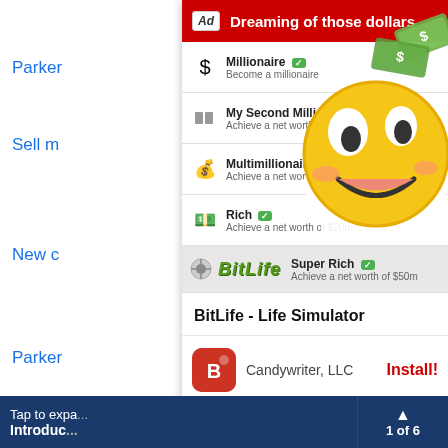Parker
Sell m
New c
Parker
Best c
Popul
Merce
Fiat 50
Ford F
[Figure (screenshot): BitLife - Life Simulator mobile app advertisement overlay. Red header bar with 'Ad' badge and 'Dreaming of those dollars' title. Shows achievement list: Millionaire, My Second Million, Multimillionaire, Rich, Super Rich. BitLife logo row. App title 'BitLife - Life Simulator', Candywriter LLC with Install button. Gray spacer. Large red 'BitLife - Life Simulator' title. Tagline 'How will you live your BitLife?'. Emoji smiley face and money bills overlaid on right side.]
Tap to expa... Introduc... 1 of 6